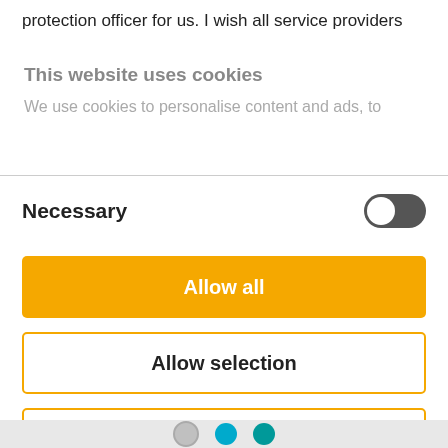protection officer for us. I wish all service providers
This website uses cookies
We use cookies to personalise content and ads, to
Necessary
Allow all
Allow selection
Deny